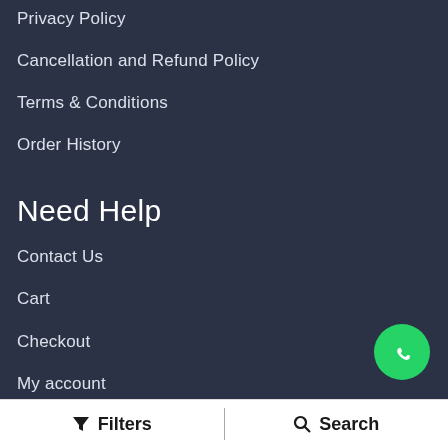Privacy Policy
Cancellation and Refund Policy
Terms & Conditions
Order History
Need Help
Contact Us
Cart
Checkout
My account
Specials
[Figure (logo): WhatsApp floating button with green circle and white chat icon]
News Letter
Filters | Search